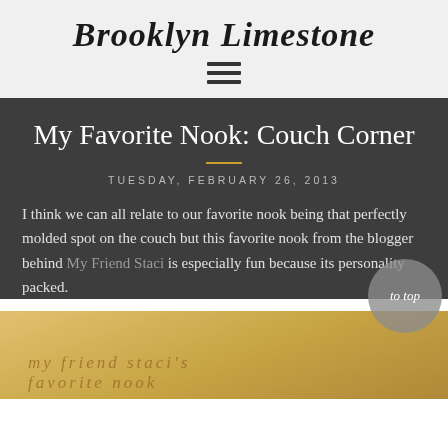Brooklyn Limestone
My Favorite Nook: Couch Corner
TUESDAY, FEBRUARY 26, 2013
I think we can all relate to our favorite nook being that perfectly molded spot on the couch but this favorite nook from the blogger behind My Friend Staci is especially fun because its personality packed.
[Figure (photo): Bottom portion of a photo showing handwritten text reading 'my friend staci's FAVORITE NOOK' on a warm golden/yellow background]